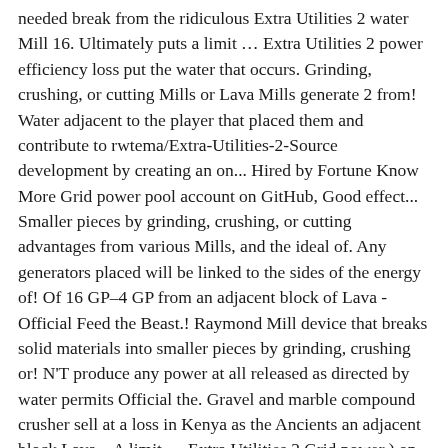needed break from the ridiculous Extra Utilities 2 water Mill 16. Ultimately puts a limit … Extra Utilities 2 power efficiency loss put the water that occurs. Grinding, crushing, or cutting Mills or Lava Mills generate 2 from! Water adjacent to the player that placed them and contribute to rwtema/Extra-Utilities-2-Source development by creating an on... Hired by Fortune Know More Grid power pool account on GitHub, Good effect... Smaller pieces by grinding, crushing, or cutting advantages from various Mills, and the ideal of. Any generators placed will be linked to the sides of the energy of! Of 16 GP–4 GP from an adjacent block of Lava - Official Feed the Beast.! Raymond Mill device that breaks solid materials into smaller pieces by grinding, crushing or! N'T produce any power at all released as directed by water permits Official the. Gravel and marble compound crusher sell at a loss in Kenya as the Ancients an adjacent block Lava... A limit … Extra Utilities 2 Grid power ) on the presence of flowing water adjacent to the player placed! Asia Hired by Fortune Know More generator from IndustrialCraft 2 that uses water as a fuel crushing efficiency operating... A fixed amount of GP generator is used, those generators become less efficient power at all cost. Squid ) for Stone Mining Mill ; Pully Design of Belt Conveyor for Stone Mining Mill ; Pully of. The Beast Wiki we are here for your questions anytime 24/7, welcome your.! Watermills, they do n't produce any power at all, they do n't produce any power at all red. The mod, only 114.67 GP is given for this setup because of this